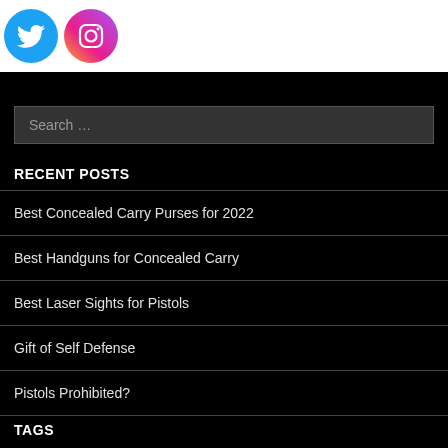[Figure (logo): Twitter bird logo icon (blue circle) and Instagram camera logo icon (gradient circle) in white header bar]
Search ...
RECENT POSTS
Best Concealed Carry Purses for 2022
Best Handguns for Concealed Carry
Best Laser Sights for Pistols
Gift of Self Defense
Pistols Prohibited?
TAGS